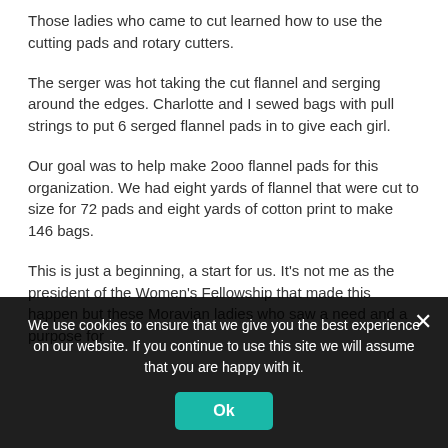Those ladies who came to cut learned how to use the cutting pads and rotary cutters.
The serger was hot taking the cut flannel and serging around the edges. Charlotte and I sewed bags with pull strings to put 6 serged flannel pads in to give each girl.
Our goal was to help make 2000 flannel pads for this organization. We had eight yards of flannel that were cut to size for 72 pads and eight yards of cotton print to make 146 bags.
This is just a beginning, a start for us. It's not me as the president of the Women's Fellowship that made this happen but these Moravian ladies who saw a need and a purpose for
We use cookies to ensure that we give you the best experience on our website. If you continue to use this site we will assume that you are happy with it.